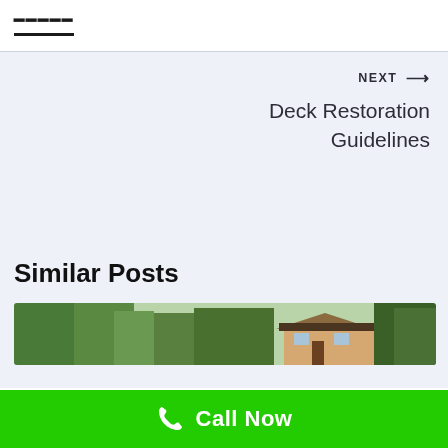NEXT → Deck Restoration Guidelines
Similar Posts
[Figure (photo): Exterior photo of a house with palm trees and green foliage in the background]
Call Now